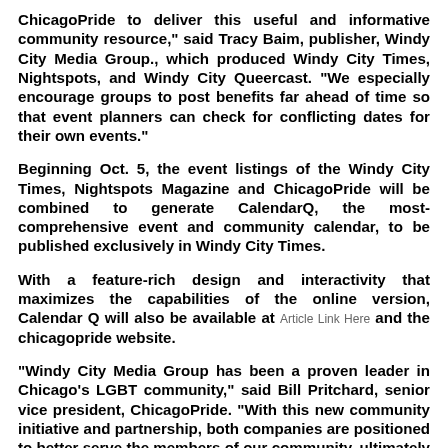ChicagoPride to deliver this useful and informative community resource," said Tracy Baim, publisher, Windy City Media Group., which produced Windy City Times, Nightspots, and Windy City Queercast. "We especially encourage groups to post benefits far ahead of time so that event planners can check for conflicting dates for their own events."
Beginning Oct. 5, the event listings of the Windy City Times, Nightspots Magazine and ChicagoPride will be combined to generate CalendarQ, the most-comprehensive event and community calendar, to be published exclusively in Windy City Times.
With a feature-rich design and interactivity that maximizes the capabilities of the online version, Calendar Q will also be available at Article Link Here and the chicagopride website.
"Windy City Media Group has been a proven leader in Chicago's LGBT community," said Bill Pritchard, senior vice president, ChicagoPride. "With this new community initiative and partnership, both companies are positioned to better serve the members of our community, ultimately putting them in control of their